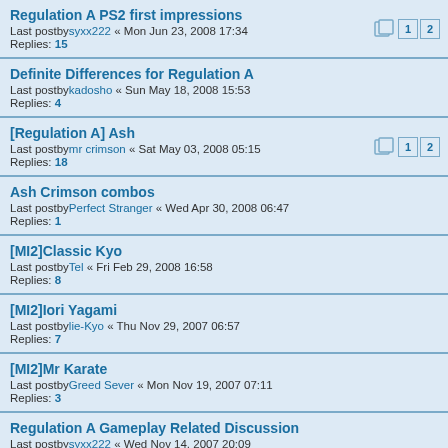Regulation A PS2 first impressions
Last postby syxx222 « Mon Jun 23, 2008 17:34
Replies: 15
Definite Differences for Regulation A
Last postby kadosho « Sun May 18, 2008 15:53
Replies: 4
[Regulation A] Ash
Last postby mr crimson « Sat May 03, 2008 05:15
Replies: 18
Ash Crimson combos
Last postby Perfect Stranger « Wed Apr 30, 2008 06:47
Replies: 1
[MI2]Classic Kyo
Last postby Tel « Fri Feb 29, 2008 16:58
Replies: 8
[MI2]Iori Yagami
Last postby lie-Kyo « Thu Nov 29, 2007 06:57
Replies: 7
[MI2]Mr Karate
Last postby Greed Sever « Mon Nov 19, 2007 07:11
Replies: 3
Regulation A Gameplay Related Discussion
Last postby syxx222 « Wed Nov 14, 2007 20:09
Replies: 1
[MI2] "Wild Wolf" Terry Bogard
Last postby syxx222 « Wed Nov 14, 2007 11:39